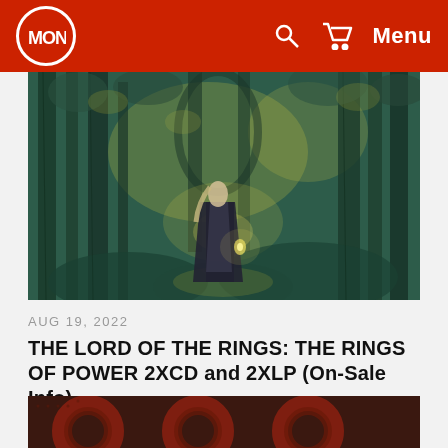Mondo — Menu
[Figure (illustration): A robed figure walking through a dark forest with tall trees, rendered in teal and yellow tones — fantasy art style]
AUG 19, 2022
THE LORD OF THE RINGS: THE RINGS OF POWER 2XCD and 2XLP (On-Sale Info)
[Figure (illustration): Bottom portion of an album artwork showing dark red/brown decorative ring motifs on a dark background]